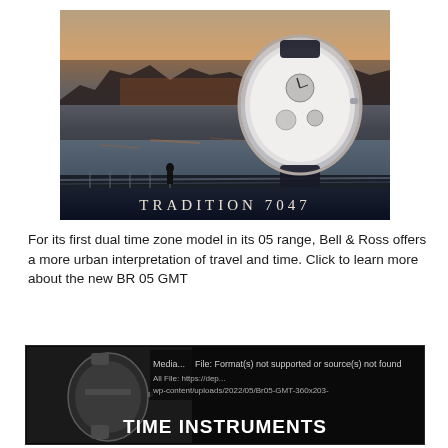[Figure (photo): Advertising image for Breguet Tradition 7047 watch against a blurred city/river background at dusk. Text 'TRADITION 7047' in white letters at the bottom of the image.]
For its first dual time zone model in its 05 range, Bell & Ross offers a more urban interpretation of travel and time. Click to learn more about the new BR 05 GMT
[Figure (screenshot): Partially loaded image/video thumbnail showing a watch on the left side against black background, with error text 'Media... File: Format(s) not supported or source(s) not found' and URL path 'All File: https://dep... wp-content/uploads/2022/05/Br05-GMT-360x203-' and bold white text 'TIME INSTRUMENTS' at the bottom.]